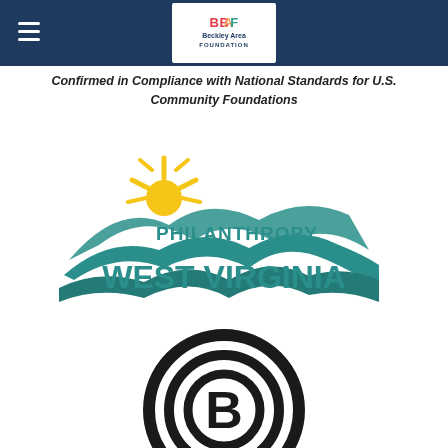[Figure (logo): Beckley Area Foundation logo in white box on dark navy header bar, with hamburger menu icon on left]
Confirmed in Compliance with National Standards for U.S. Community Foundations
[Figure (logo): Philanthropy West Virginia logo with teal waves and yellow sun]
[Figure (logo): Big Brothers Big Sisters circular logo, partially visible at bottom]